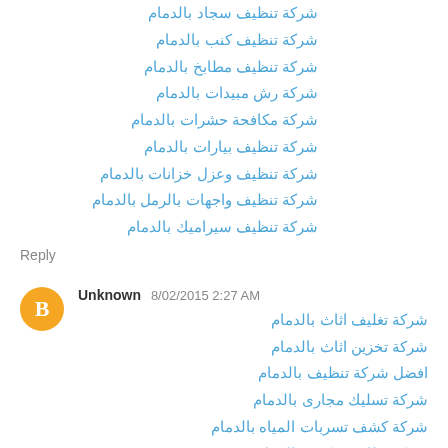شركة تنظيف سجاد بالدمام
شركة تنظيف كنب بالدمام
شركة تنظيف مطابخ بالدمام
شركة رش مبيدات بالدمام
شركة مكافحة حشرات بالدمام
شركة تنظيف بيارات بالدمام
شركة تنظيف وعزل خزانات بالدمام
شركة تنظيف واجهات بالرمل بالدمام
شركة تنظيف سيراميك بالدمام
Reply
Unknown 8/02/2015 2:27 AM
شركة تغليف اثاث بالدمام
شركة تخزين اثاث بالدمام
افضل شركة تنظيف بالدمام
شركة تسليك مجارى بالدمام
شركة كشف تسربات المياه بالدمام
شركة نظافة موكيت بالدمام
شركة تنظيف شقق بالدمام
شركة تنظيف فلل بالدمام